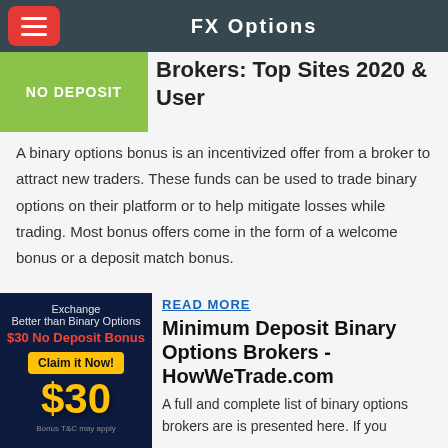FX Options
[Figure (illustration): Green banner with 'NO DEPOSIT' text]
Brokers: Top Sites 2020 & User
A binary options bonus is an incentivized offer from a broker to attract new traders. These funds can be used to trade binary options on their platform or to help mitigate losses while trading. Most bonus offers come in the form of a welcome bonus or a deposit match bonus.
[Figure (illustration): Dark blue advertisement banner: 'Better than Binary Options $30 No Deposit Bonus Claim it Now! $30 Bonus T&C may apply']
READ MORE
Minimum Deposit Binary Options Brokers - HowWeTrade.com
A full and complete list of binary options brokers are is presented here. If you want to select a company, guiding your choice with objective and unbiased information, this table is a great starting point. The